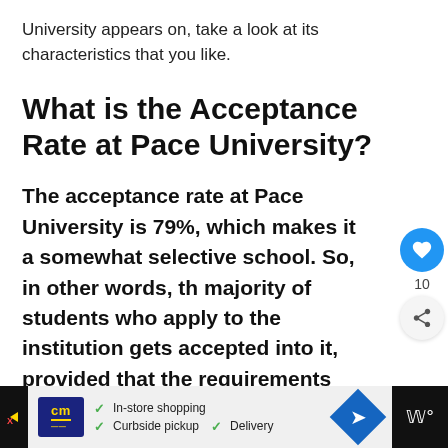University appears on, take a look at its characteristics that you like.
What is the Acceptance Rate at Pace University?
The acceptance rate at Pace University is 79%, which makes it a somewhat selective school. So, in other words, the majority of students who apply to the institution gets accepted into it, provided that the requirements are met.
[Figure (other): Advertisement bar at bottom: CM store logo with In-store shopping, Curbside pickup, Delivery checkmarks, blue diamond arrow icon, and dark right block]
[Figure (other): Floating UI: blue heart/like button with count 10, and share button]